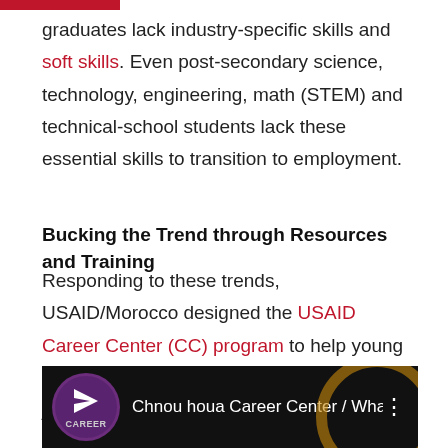graduates lack industry-specific skills and soft skills. Even post-secondary science, technology, engineering, math (STEM) and technical-school students lack these essential skills to transition to employment.
Bucking the Trend through Resources and Training
Responding to these trends, USAID/Morocco designed the USAID Career Center (CC) program to help young Moroccans prepare for and connect with the job market.
[Figure (screenshot): Video thumbnail showing 'Chnou houa Career Center / What ...' with a purple circular logo containing a paper plane icon and 'CAREER' text, on a dark background with a gold circular element.]